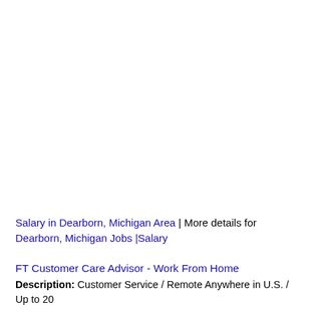Salary in Dearborn, Michigan Area | More details for Dearborn, Michigan Jobs |Salary
FT Customer Care Advisor - Work From Home
Description: Customer Service / Remote Anywhere in U.S. / Up to 20